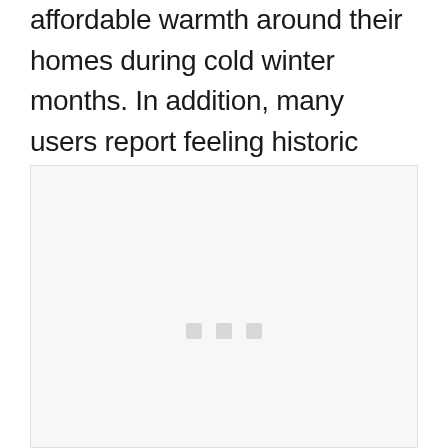affordable warmth around their homes during cold winter months. In addition, many users report feeling historic comfort from the aesthetic value associated with classic designs.
[Figure (photo): A large light gray placeholder image box with three small gray square dots centered near the bottom middle of the box.]